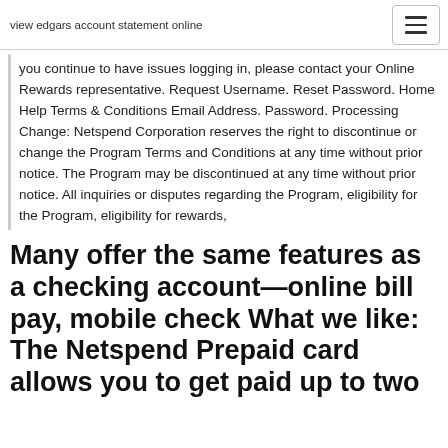view edgars account statement online
you continue to have issues logging in, please contact your Online Rewards representative. Request Username. Reset Password. Home Help Terms & Conditions Email Address. Password. Processing Change: Netspend Corporation reserves the right to discontinue or change the Program Terms and Conditions at any time without prior notice. The Program may be discontinued at any time without prior notice. All inquiries or disputes regarding the Program, eligibility for the Program, eligibility for rewards,
Many offer the same features as a checking account—online bill pay, mobile check What we like: The Netspend Prepaid card allows you to get paid up to two